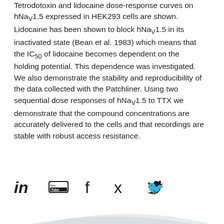Tetrodotoxin and lidocaine dose-response curves on hNav1.5 expressed in HEK293 cells are shown. Lidocaine has been shown to block hNav1.5 in its inactivated state (Bean et al. 1983) which means that the IC50 of lidocaine becomes dependent on the holding potential. This dependence was investigated. We also demonstrate the stability and reproducibility of the data collected with the Patchliner. Using two sequential dose responses of hNav1.5 to TTX we demonstrate that the compound concentrations are accurately delivered to the cells and that recordings are stable with robust access resistance.
Back to Overview
[Figure (other): Social media icons: LinkedIn, YouTube, Facebook, Xing, Twitter]